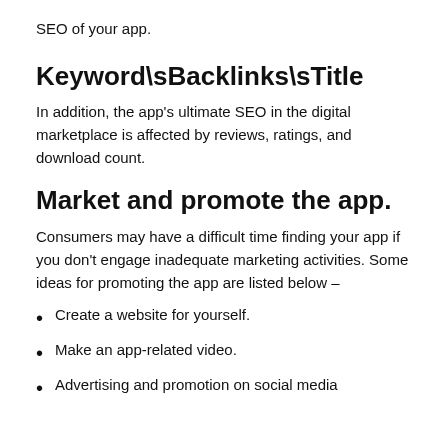SEO of your app.
Keyword\sBacklinks\sTitle
In addition, the app's ultimate SEO in the digital marketplace is affected by reviews, ratings, and download count.
Market and promote the app.
Consumers may have a difficult time finding your app if you don't engage inadequate marketing activities. Some ideas for promoting the app are listed below –
Create a website for yourself.
Make an app-related video.
Advertising and promotion on social media